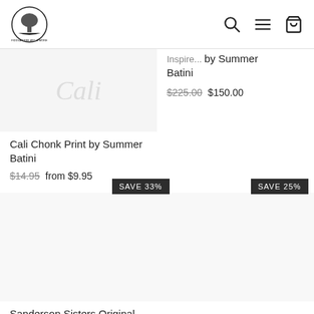Fiddla Tree Art & More — navigation header with logo, search, menu, and cart icons
Inspire... by Summer Batini
$225.00  $150.00
Cali Chonk Print by Summer Batini
$14.95  from $9.95
SAVE 33%
SAVE 25%
Sanderson Sisters Original Painting by Summer Batini
$45.00  $30.00